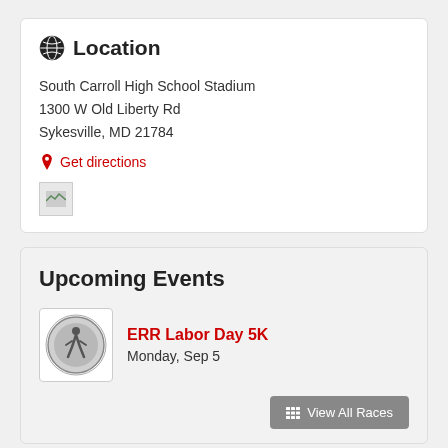Location
South Carroll High School Stadium
1300 W Old Liberty Rd
Sykesville, MD 21784
Get directions
[Figure (illustration): Small map thumbnail placeholder image]
Upcoming Events
[Figure (logo): ERR Labor Day 5K race logo — circular emblem with running figure]
ERR Labor Day 5K
Monday, Sep 5
View All Races